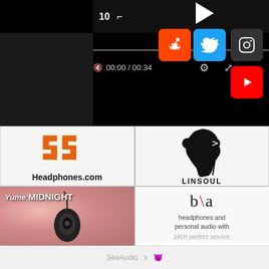[Figure (screenshot): Video player UI with black background showing '10' text, play triangle, progress bar showing 00:00 / 00:34, hamburger/close menu icon, settings and fullscreen icons, and social media buttons for Reddit (orange), Twitter (blue), Instagram (dark), and YouTube (red)]
[Figure (logo): Headphones.com logo with orange stylized 'H' double-S shaped icon above bold text 'Headphones.com']
[Figure (logo): Linsoul logo showing a black silhouette of a head wearing headphones with cable dangling, and text 'LINSOUL' in bold uppercase below]
[Figure (photo): Yume: MIDNIGHT earphones product photo showing black in-ear monitors against pink roses background with text 'Yume:MIDNIGHT' overlay]
[Figure (logo): B|A logo with text 'b\a' in elegant font with a red diagonal slash, followed by taglines 'headphones and personal audio with' and 'pitch perfect service']
SeeAudio x [emoji]